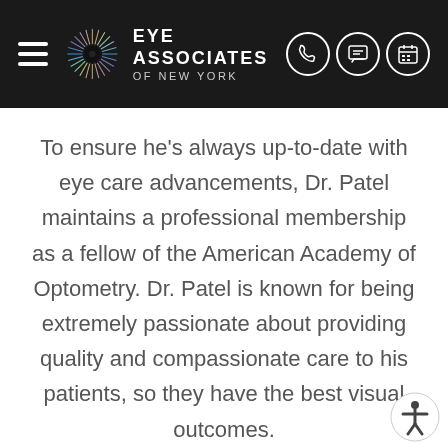EYE ASSOCIATES OF NEW YORK
To ensure he's always up-to-date with eye care advancements, Dr. Patel maintains a professional membership as a fellow of the American Academy of Optometry. Dr. Patel is known for being extremely passionate about providing quality and compassionate care to his patients, so they have the best visual outcomes.
When Dr. Patel isn't busy caring for patients in the clinic, he spends time serving his